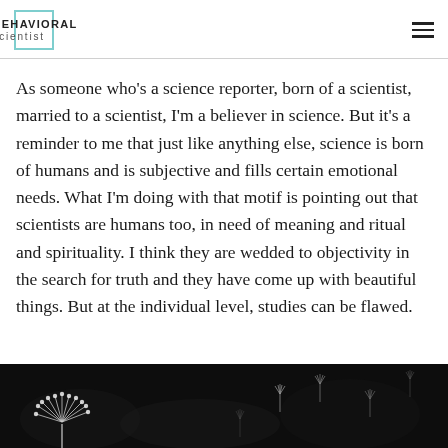BEHAVIORAL scientist
As someone who’s a science reporter, born of a scientist, married to a scientist, I’m a believer in science. But it’s a reminder to me that just like anything else, science is born of humans and is subjective and fills certain emotional needs. What I’m doing with that motif is pointing out that scientists are humans too, in need of meaning and ritual and spirituality. I think they are wedded to objectivity in the search for truth and they have come up with beautiful things. But at the individual level, studies can be flawed.
[Figure (photo): Close-up dark photograph of dandelion seeds against a black background, showing fluffy white seed head and individual seeds floating or detached]